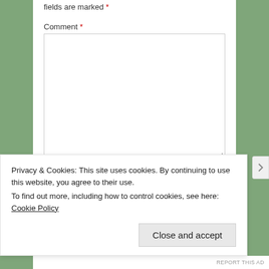fields are marked *
Comment *
Name *
Email *
Privacy & Cookies: This site uses cookies. By continuing to use this website, you agree to their use.
To find out more, including how to control cookies, see here: Cookie Policy
Close and accept